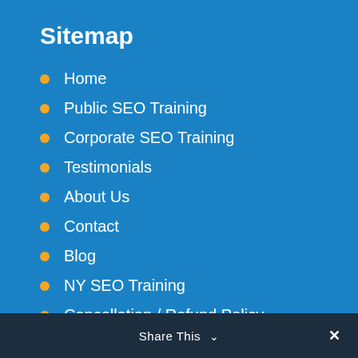Sitemap
Home
Public SEO Training
Corporate SEO Training
Testimonials
About Us
Contact
Blog
NY SEO Training
Cancellation / Refund Policy
Share This ∨  ✕